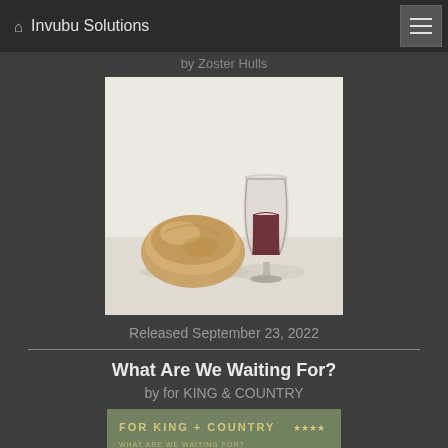Invubu Solutions
by Zoster Hulls
[Figure (photo): Photo of a bread roll and a glass of red wine on a white background, representing communion elements]
Released September 23, 2022
What Are We Waiting For?
by for KING & COUNTRY
[Figure (photo): Album cover for 'What Are We Waiting For?' by For King & Country - olive/green colored cover with text and star rating]